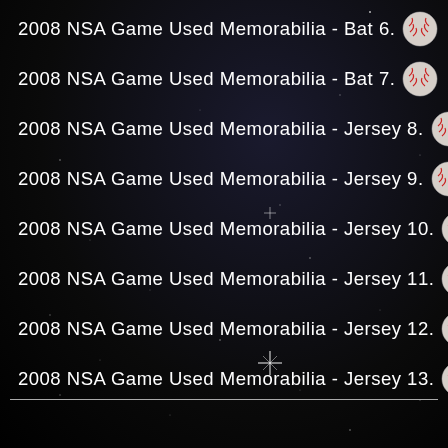2008 NSA Game Used Memorabilia - Bat 6.
2008 NSA Game Used Memorabilia - Bat 7.
2008 NSA Game Used Memorabilia - Jersey 8.
2008 NSA Game Used Memorabilia - Jersey 9.
2008 NSA Game Used Memorabilia - Jersey 10.
2008 NSA Game Used Memorabilia - Jersey 11.
2008 NSA Game Used Memorabilia - Jersey 12.
2008 NSA Game Used Memorabilia - Jersey 13.